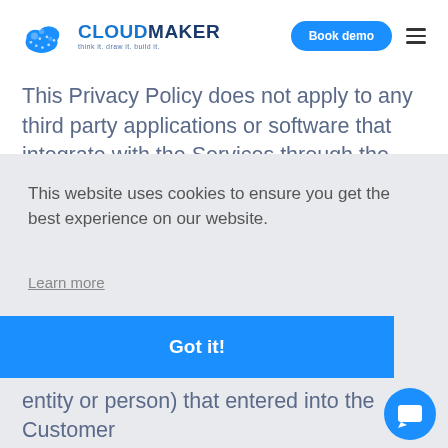[Figure (logo): CloudMaker logo with blue cloud icon and text 'CLOUDMAKER think it. draw it. build it.']
This Privacy Policy does not apply to any third party applications or software that integrate with the Services through the Cloud Maker platform ("Third Party Services"), or any other third party products, services or businesses. In
This website uses cookies to ensure you get the best experience on our website.
Learn more
Got it!
entity or person) that entered into the Customer